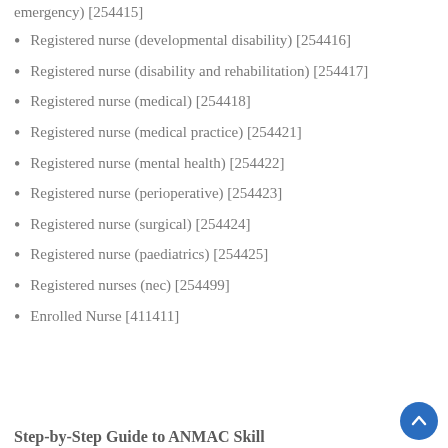emergency) [254415]
Registered nurse (developmental disability) [254416]
Registered nurse (disability and rehabilitation) [254417]
Registered nurse (medical) [254418]
Registered nurse (medical practice) [254421]
Registered nurse (mental health) [254422]
Registered nurse (perioperative) [254423]
Registered nurse (surgical) [254424]
Registered nurse (paediatrics) [254425]
Registered nurses (nec) [254499]
Enrolled Nurse [411411]
Step-by-Step Guide to ANMAC Skill